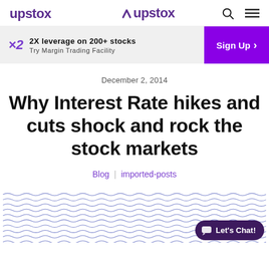upstox
2X leverage on 200+ stocks
Try Margin Trading Facility
Sign Up
December 2, 2014
Why Interest Rate hikes and cuts shock and rock the stock markets
Blog | imported-posts
[Figure (illustration): Wavy/squiggly line pattern background image with a Let's Chat button overlay]